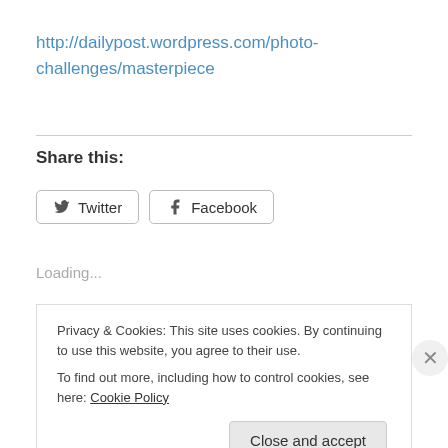http://dailypost.wordpress.com/photo-challenges/masterpiece
Share this:
Twitter   Facebook
Loading...
Privacy & Cookies: This site uses cookies. By continuing to use this website, you agree to their use.
To find out more, including how to control cookies, see here: Cookie Policy
Close and accept